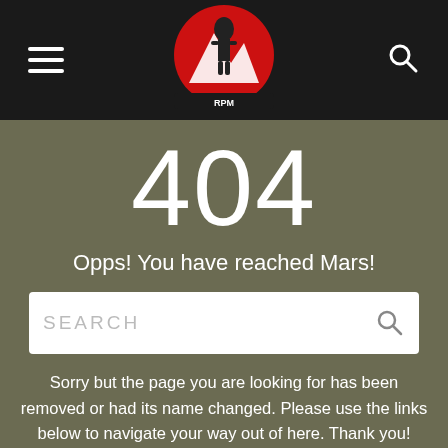[Figure (logo): Website logo in the center of the dark navigation bar: a circular red badge with a figure/soldier and mountains, with text below]
404
Opps! You have reached Mars!
SEARCH
Sorry but the page you are looking for has been removed or had its name changed. Please use the links below to navigate your way out of here. Thank you!